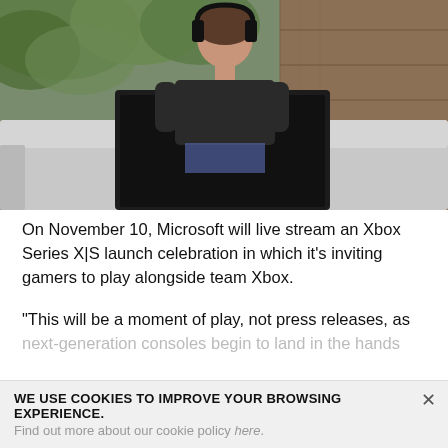[Figure (photo): Woman wearing black headphones sitting outdoors on a grey sofa, using a black gaming laptop (ASUS ROG), with green foliage and wooden wall in background]
On November 10, Microsoft will live stream an Xbox Series X|S launch celebration in which it's inviting gamers to play alongside team Xbox.
“This will be a moment of play, not press releases, as next-generation consoles begin to land in the hands
WE USE COOKIES TO IMPROVE YOUR BROWSING EXPERIENCE.
Find out more about our cookie policy here.